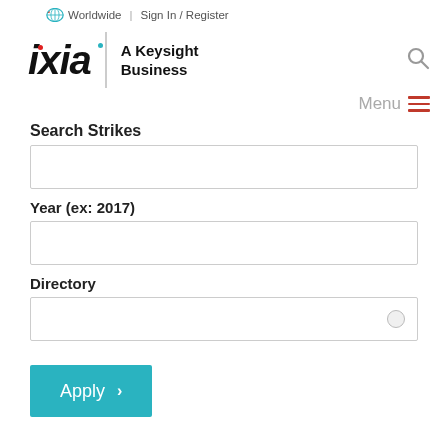Worldwide  Sign In / Register
[Figure (logo): Ixia - A Keysight Business logo with globe icon and search icon]
Menu
Search Strikes
Year (ex: 2017)
Directory
Apply